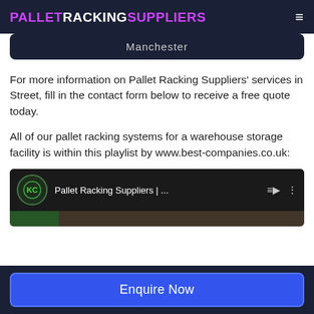PALLETRACKINGSUPPLIERS
Manchester
For more information on Pallet Racking Suppliers' services in Street, fill in the contact form below to receive a free quote today.
All of our pallet racking systems for a warehouse storage facility is within this playlist by www.best-companies.co.uk:
[Figure (screenshot): YouTube playlist embed showing 'Pallet Racking Suppliers | ...' with a green logo icon and thumbnail images]
Enquire Now